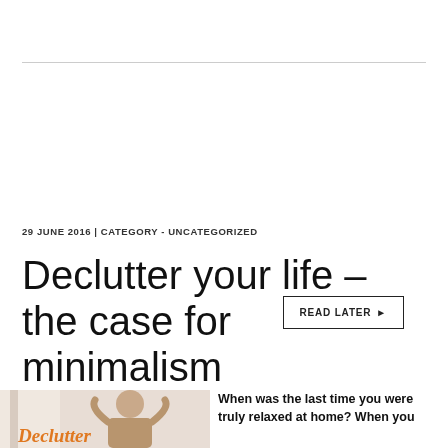READ LATER ▶
29 JUNE 2016 | CATEGORY - UNCATEGORIZED
Declutter your life – the case for minimalism
[Figure (photo): Person relaxing at home with orange 'Declutter' text overlay]
When was the last time you were truly relaxed at home? When you